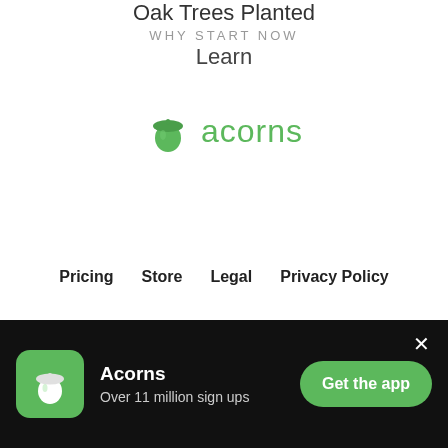Oak Trees Planted
WHY START NOW
Learn
[Figure (logo): Acorns logo: green acorn icon and 'acorns' text in green]
Pricing   Store   Legal   Privacy Policy
Acorns — Over 11 million sign ups — Get the app